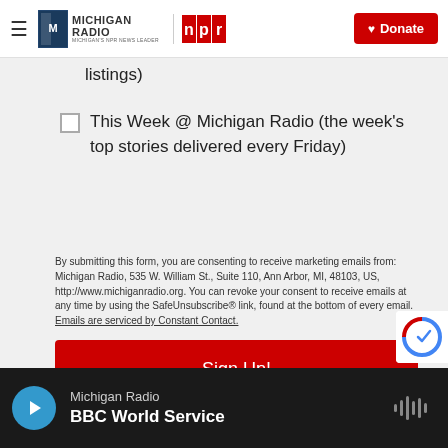Michigan Radio NPR — Donate
listings)
This Week @ Michigan Radio (the week's top stories delivered every Friday)
By submitting this form, you are consenting to receive marketing emails from: Michigan Radio, 535 W. William St., Suite 110, Ann Arbor, MI, 48103, US, http://www.michiganradio.org. You can revoke your consent to receive emails at any time by using the SafeUnsubscribe® link, found at the bottom of every email. Emails are serviced by Constant Contact.
Sign Up!
Michigan Radio — BBC World Service